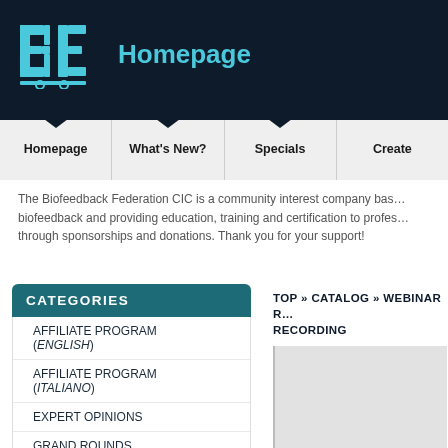Homepage
Homepage | What's New? | Specials | Create
The Biofeedback Federation CIC is a community interest company based on biofeedback and providing education, training and certification to professionals through sponsorships and donations. Thank you for your support!
CATEGORIES
AFFILIATE PROGRAM (ENGLISH)
AFFILIATE PROGRAM (ITALIANO)
EXPERT OPINIONS
GRAND ROUNDS
GUIDES
ONLINE CLASS
TOP » CATALOG » WEBINAR RECORDING